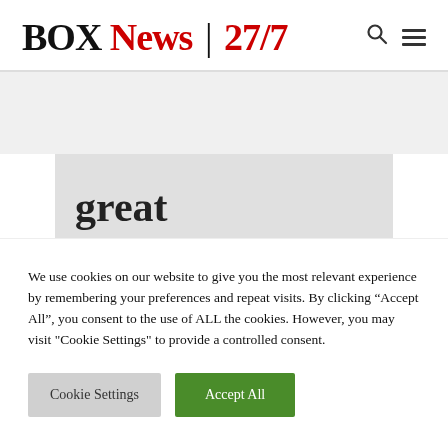BOX News | 27/7
[Figure (other): Gray banner area placeholder]
great
We use cookies on our website to give you the most relevant experience by remembering your preferences and repeat visits. By clicking “Accept All”, you consent to the use of ALL the cookies. However, you may visit "Cookie Settings" to provide a controlled consent.
Cookie Settings | Accept All